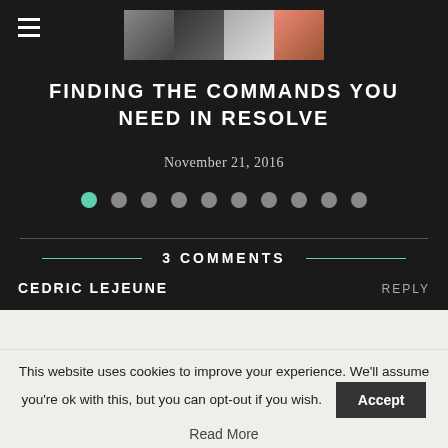FINDING THE COMMANDS YOU NEED IN RESOLVE
November 21, 2016
3 COMMENTS
CEDRIC LEJEUNE
January 29, 2018 - 7:59 am
Well, as a guitar player myself, I find the analogy very interesting
This website uses cookies to improve your experience. We’ll assume you’re ok with this, but you can opt-out if you wish.
Read More